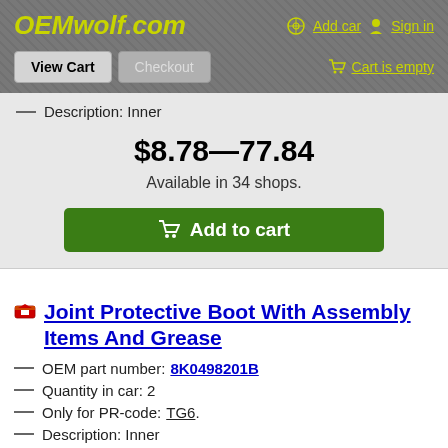OEMwolf.com | Add car | Sign in | View Cart | Checkout | Cart is empty
— Description: Inner
$8.78—77.84
Available in 34 shops.
Add to cart
Joint Protective Boot With Assembly Items And Grease
— OEM part number: 8K0498201B
— Quantity in car: 2
— Only for PR-code: TG6.
— Description: Inner